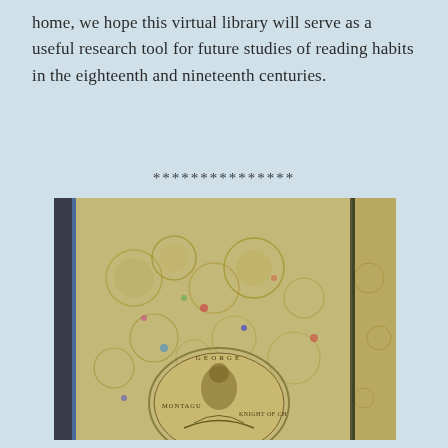home, we hope this virtual library will serve as a useful research tool for future studies of reading habits in the eighteenth and nineteenth centuries.
***************
[Figure (photo): Photograph of an ornate marbled book cover with a label reading 'A 8 31' and a decorative medallion at the bottom featuring a historical figure, with another decorative book visible behind it.]